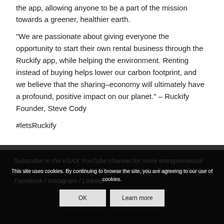the app, allowing anyone to be a part of the mission towards a greener, healthier earth.
“We are passionate about giving everyone the opportunity to start their own rental business through the Ruckify app, while helping the environment. Renting instead of buying helps lower our carbon footprint, and we believe that the sharing–economy will ultimately have a profound, positive impact on our planet.” – Ruckify Founder, Steve Cody
#letsRuckify
This site uses cookies. By continuing to browse the site, you are agreeing to our use of cookies.
Subscribe to the eSAX YouTube channel for more entrepreneurial content, and connect with eSAX on social media: Twitter (#eSAX) / Facebook / Instagram / LinkedIn